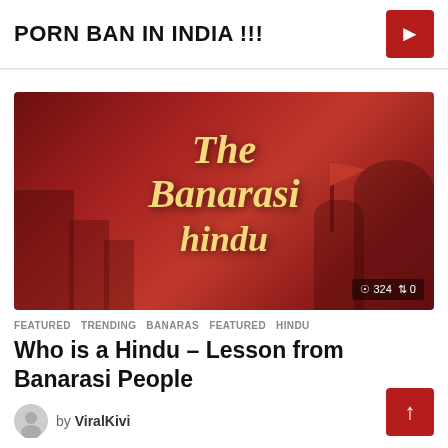PORN BAN IN INDIA !!!
[Figure (photo): Thumbnail image with red-tinted photo of Varanasi ghats/temples with text overlay reading 'The Banarasi hindu' in decorative gold/yellow font, with view count 324 and share count 0 shown in bottom-right corner]
FEATURED  TRENDING  BANARAS  FEATURED  HINDU
Who is a Hindu – Lesson from Banarasi People
by ViralKivi